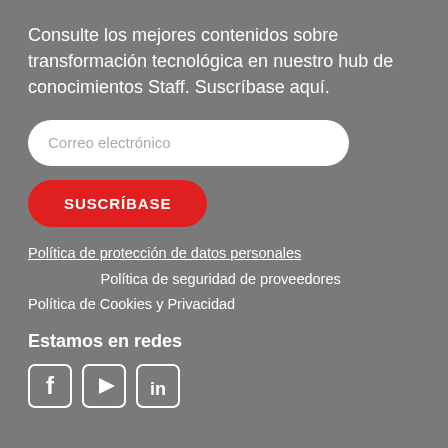Consulte los mejores contenidos sobre transformación tecnológica en nuestro hub de conocimientos Staff. Suscríbase aquí.
[Figure (screenshot): Email input field with placeholder text 'Correo electrónico' and a red SUSCRÍBASE button below it]
Política de protección de datos personales
Política de seguridad de proveedores
Política de Cookies y Privacidad
Estamos en redes
[Figure (other): Social media icons: Facebook, YouTube, LinkedIn]